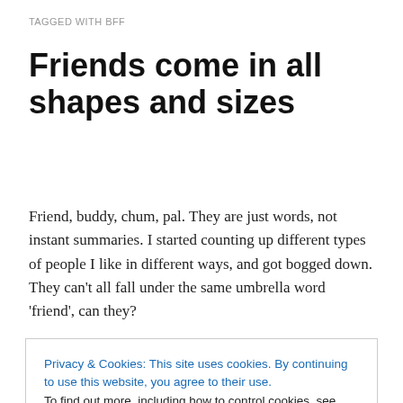TAGGED WITH BFF
Friends come in all shapes and sizes
Friend, buddy, chum, pal. They are just words, not instant summaries. I started counting up different types of people I like in different ways, and got bogged down. They can’t all fall under the same umbrella word ‘friend’, can they?
I’ve been on a singles website for nearly two years
Privacy & Cookies: This site uses cookies. By continuing to use this website, you agree to their use.
To find out more, including how to control cookies, see here: Cookie Policy
Close and accept
up. Virtual friends, oh yes, but it’s hard to hide behind the